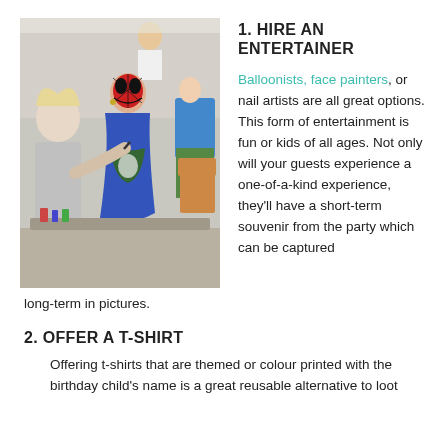1. HIRE AN ENTERTAINER
[Figure (photo): A child with a Spiderman face painting wearing a blue cape, being attended to by a face painter at an outdoor party event.]
Balloonists, face painters, or nail artists are all great options. This form of entertainment is fun or kids of all ages. Not only will your guests experience a one-of-a-kind experience, they'll have a short-term souvenir from the party which can be captured long-term in pictures.
2. OFFER A T-SHIRT
Offering t-shirts that are themed or colour printed with the birthday child's name is a great reusable alternative to loot